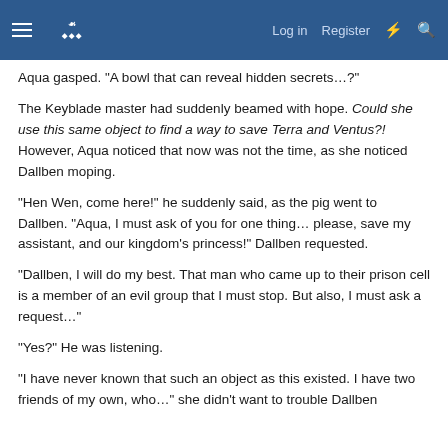Log in  Register
Aqua gasped. "A bowl that can reveal hidden secrets...?"
The Keyblade master had suddenly beamed with hope. Could she use this same object to find a way to save Terra and Ventus?! However, Aqua noticed that now was not the time, as she noticed Dallben moping.
"Hen Wen, come here!" he suddenly said, as the pig went to Dallben. "Aqua, I must ask of you for one thing… please, save my assistant, and our kingdom's princess!" Dallben requested.
"Dallben, I will do my best. That man who came up to their prison cell is a member of an evil group that I must stop. But also, I must ask a request..."
"Yes?" He was listening.
"I have never known that such an object as this existed. I have two friends of my own, who..." she didn't want to trouble Dallben